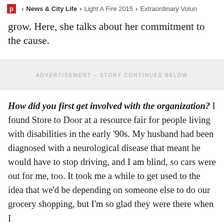P > News & City Life > Light A Fire 2015 > Extraordinary Volun
grow. Here, she talks about her commitment to the cause.
ADVERTISEMENT – STORY CONTINUES BELOW
How did you first get involved with the organization? I found Store to Door at a resource fair for people living with disabilities in the early '90s. My husband had been diagnosed with a neurological disease that meant he would have to stop driving, and I am blind, so cars were out for me, too. It took me a while to get used to the idea that we'd be depending on someone else to do our grocery shopping, but I'm so glad they were there when I